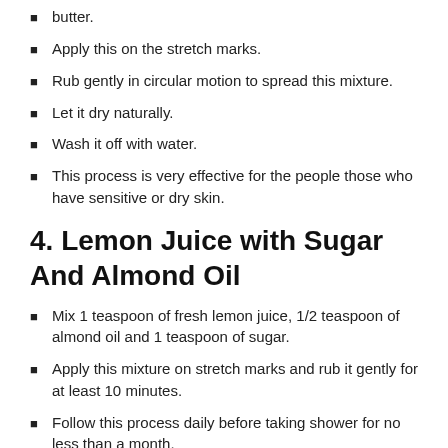butter.
Apply this on the stretch marks.
Rub gently in circular motion to spread this mixture.
Let it dry naturally.
Wash it off with water.
This process is very effective for the people those who have sensitive or dry skin.
4. Lemon Juice with Sugar And Almond Oil
Mix 1 teaspoon of fresh lemon juice, 1/2 teaspoon of almond oil and 1 teaspoon of sugar.
Apply this mixture on stretch marks and rub it gently for at least 10 minutes.
Follow this process daily before taking shower for no less than a month.